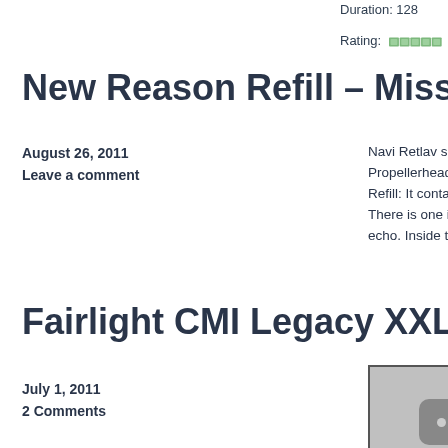Duration: 128
Rating: ☆☆☆☆☆… Read More
New Reason Refill – Missin
August 26, 2011
Leave a comment
Navi Retlav sent word of Missing Pieces – Propellerhead Reason. Here what Retlav h Refill: It contains unique collection of Fee There is one important big difference bet echo. Inside those effects audio signal is
Fairlight CMI Legacy XXL R
July 1, 2011
2 Comments
[Figure (screenshot): Video thumbnail placeholder with three dots icon on gray background]